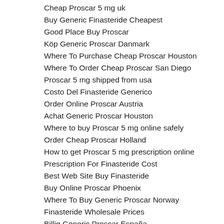Cheap Proscar 5 mg uk
Buy Generic Finasteride Cheapest
Good Place Buy Proscar
Köp Generic Proscar Danmark
Where To Purchase Cheap Proscar Houston
Where To Order Cheap Proscar San Diego
Proscar 5 mg shipped from usa
Costo Del Finasteride Generico
Order Online Proscar Austria
Achat Generic Proscar Houston
Where to buy Proscar 5 mg online safely
Order Cheap Proscar Holland
How to get Proscar 5 mg prescription online
Prescription For Finasteride Cost
Best Web Site Buy Finasteride
Buy Online Proscar Phoenix
Where To Buy Generic Proscar Norway
Finasteride Wholesale Prices
Billig Generic Proscar España